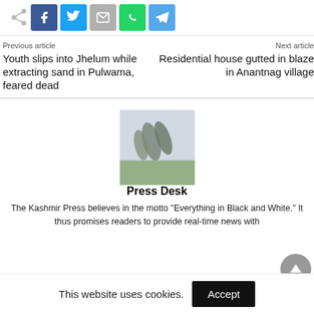[Figure (other): Social share buttons row: share/dots icon, Facebook (blue), Twitter (light blue), Email (grey), WhatsApp (green), Telegram (blue)]
Previous article
Next article
Youth slips into Jhelum while extracting sand in Pulwama, feared dead
Residential house gutted in blaze in Anantnag village
[Figure (photo): Outdoor scene with trees bending in wind and fog or mist in background, green field visible]
Press Desk
The Kashmir Press believes in the motto "Everything in Black and White." It thus promises readers to provide real-time news with
This website uses cookies.
Accept